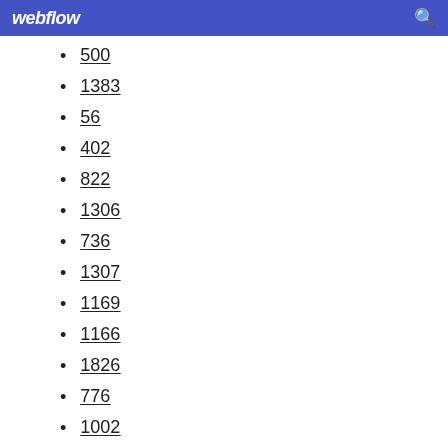webflow
500
1383
56
402
822
1306
736
1307
1169
1166
1826
776
1002